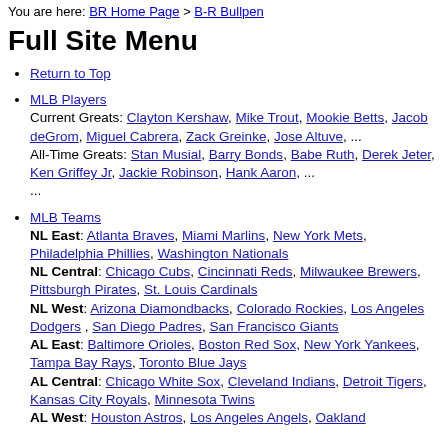You are here: BR Home Page > B-R Bullpen
Full Site Menu
Return to Top
MLB Players
Current Greats: Clayton Kershaw, Mike Trout, Mookie Betts, Jacob deGrom, Miguel Cabrera, Zack Greinke, Jose Altuve, ...
All-Time Greats: Stan Musial, Barry Bonds, Babe Ruth, Derek Jeter, Ken Griffey Jr, Jackie Robinson, Hank Aaron, ...
MLB Teams
NL East: Atlanta Braves, Miami Marlins, New York Mets, Philadelphia Phillies, Washington Nationals
NL Central: Chicago Cubs, Cincinnati Reds, Milwaukee Brewers, Pittsburgh Pirates, St. Louis Cardinals
NL West: Arizona Diamondbacks, Colorado Rockies, Los Angeles Dodgers, San Diego Padres, San Francisco Giants
AL East: Baltimore Orioles, Boston Red Sox, New York Yankees, Tampa Bay Rays, Toronto Blue Jays
AL Central: Chicago White Sox, Cleveland Indians, Detroit Tigers, Kansas City Royals, Minnesota Twins
AL West: Houston Astros, Los Angeles Angels, Oakland...